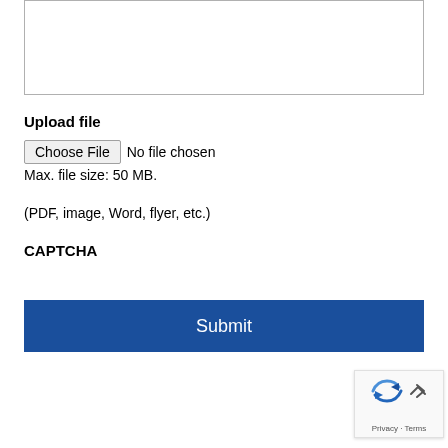[Figure (screenshot): Empty white textarea input box with grey border]
Upload file
Choose File  No file chosen
Max. file size: 50 MB.
(PDF, image, Word, flyer, etc.)
CAPTCHA
Submit
[Figure (other): Google reCAPTCHA widget with refresh and expand icons, Privacy and Terms links]